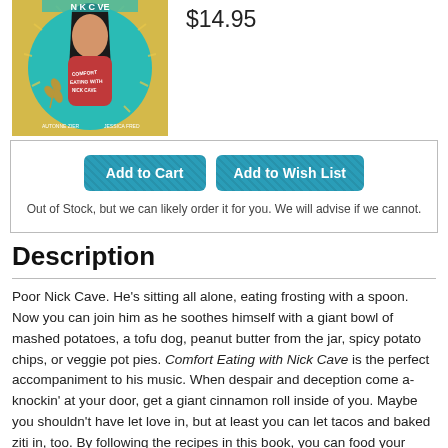[Figure (illustration): Book cover illustration showing a woman with long dark hair holding a large red dish, on a yellow/teal background with text 'Comfort Eating with Nick Cave' and author names]
$14.95
Add to Cart
Add to Wish List
Out of Stock, but we can likely order it for you. We will advise if we cannot.
Description
Poor Nick Cave. He's sitting all alone, eating frosting with a spoon. Now you can join him as he soothes himself with a giant bowl of mashed potatoes, a tofu dog, peanut butter from the jar, spicy potato chips, or veggie pot pies. Comfort Eating with Nick Cave is the perfect accompaniment to his music. When despair and deception come a-knockin' at your door, get a giant cinnamon roll inside of you. Maybe you shouldn't have let love in, but at least you can let tacos and baked ziti in, too. By following the recipes in this book, you can food your sorrows with delicious vegan